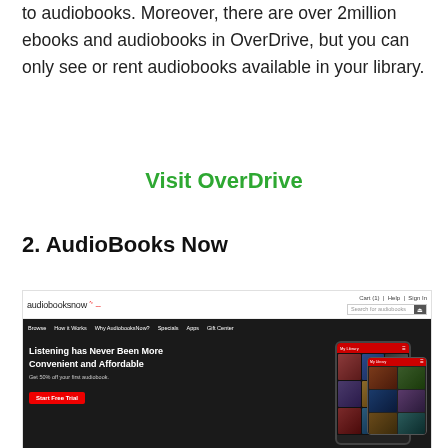to audiobooks. Moreover, there are over 2million ebooks and audiobooks in OverDrive, but you can only see or rent audiobooks available in your library.
Visit OverDrive
2. AudioBooks Now
[Figure (screenshot): Screenshot of the AudiobooksNow website homepage showing the logo, navigation bar with Browse, How it Works, Why AudiobooksNow?, Specials, Apps, Gift Center, a search bar, and a hero section with text 'Listening has Never Been More Convenient and Affordable', 'Get 50% off your first audiobook.', a red 'Start Free Trial' button, and a phone mockup showing My Library with book covers.]